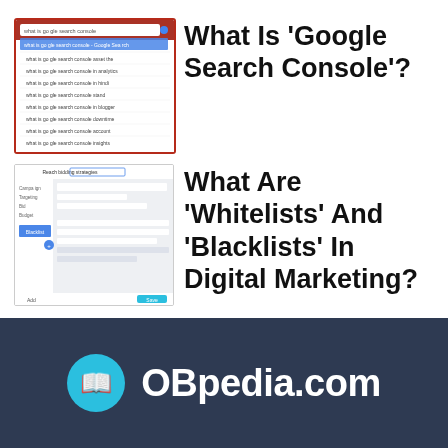[Figure (screenshot): Screenshot of Google search autocomplete results for 'what is google search console']
What Is ‘Google Search Console’?
[Figure (screenshot): Screenshot of a digital marketing platform interface showing whitelist/blacklist settings]
What Are ‘Whitelists’ And ‘Blacklists’ In Digital Marketing?
[Figure (logo): OBpedia.com logo with book icon on dark navy background]